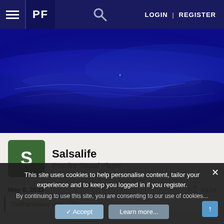PF LOGIN | REGISTER
[Figure (photo): Dark blue abstract banner image used as hero background on a sports forum website]
Salsalife
Practice Squad Player
May 8, 2022   #424
TheRainMaker said:
This site uses cookies to help personalise content, tailor your experience and to keep you logged in if you register.
By continuing to use this site, you are consenting to our use of cookies...